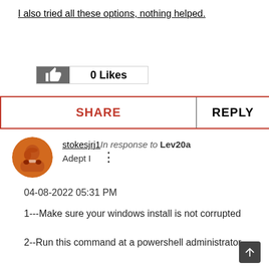I also tried all these options, nothing helped.
[Figure (other): Like button with 0 Likes count]
[Figure (other): SHARE and REPLY action buttons]
[Figure (other): User avatar icon for stokesjrj1]
stokesjrj1 In response to Lev20a
Adept I
04-08-2022 05:31 PM
1---Make sure your windows install is not corrupted
2--Run this command at a powershell administrator